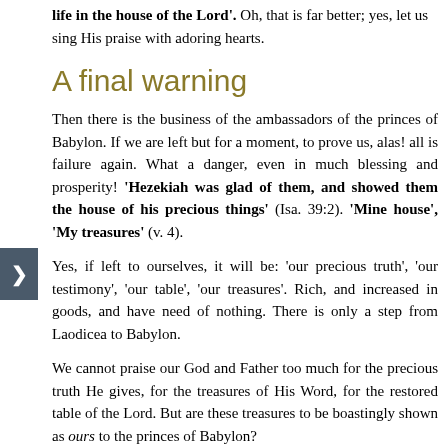'life in the house of the Lord'. Oh, that is far better; yes, let us sing His praise with adoring hearts.
A final warning
Then there is the business of the ambassadors of the princes of Babylon. If we are left but for a moment, to prove us, alas! all is failure again. What a danger, even in much blessing and prosperity! 'Hezekiah was glad of them, and showed them the house of his precious things' (Isa. 39:2). 'Mine house', 'My treasures' (v. 4).
Yes, if left to ourselves, it will be: 'our precious truth', 'our testimony', 'our table', 'our treasures'. Rich, and increased in goods, and have need of nothing. There is only a step from Laodicea to Babylon.
We cannot praise our God and Father too much for the precious truth He gives, for the treasures of His Word, for the restored table of the Lord. But are these treasures to be boastingly shown as ours to the princes of Babylon?
If Hezekiah humbled himself, surely we ought to take the